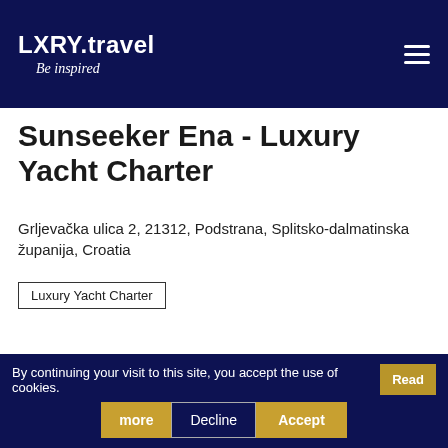LXRY.travel Be inspired
Sunseeker Ena - Luxury Yacht Charter
Grljevačka ulica 2, 21312, Podstrana, Splitsko-dalmatinska županija, Croatia
Luxury Yacht Charter
[Figure (photo): Dark carousel image area with loading spinner and left/right navigation arrows]
By continuing your visit to this site, you accept the use of cookies. Read more Decline Accept